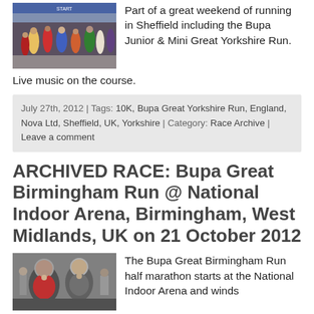[Figure (photo): Crowd of runners at the start of a running race event in Sheffield]
Part of a great weekend of running in Sheffield including the Bupa Junior & Mini Great Yorkshire Run.
Live music on the course.
July 27th, 2012 | Tags: 10K, Bupa Great Yorkshire Run, England, Nova Ltd, Sheffield, UK, Yorkshire | Category: Race Archive | Leave a comment
ARCHIVED RACE: Bupa Great Birmingham Run @ National Indoor Arena, Birmingham, West Midlands, UK on 21 October 2012
[Figure (photo): People posing at the Bupa Great Birmingham Run half marathon event]
The Bupa Great Birmingham Run half marathon starts at the National Indoor Arena and winds